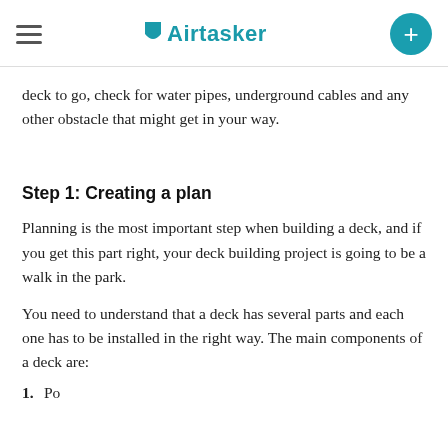Airtasker (logo and navigation)
deck to go, check for water pipes, underground cables and any other obstacle that might get in your way.
Step 1: Creating a plan
Planning is the most important step when building a deck, and if you get this part right, your deck building project is going to be a walk in the park.
You need to understand that a deck has several parts and each one has to be installed in the right way. The main components of a deck are:
1.  Posts (partially visible)